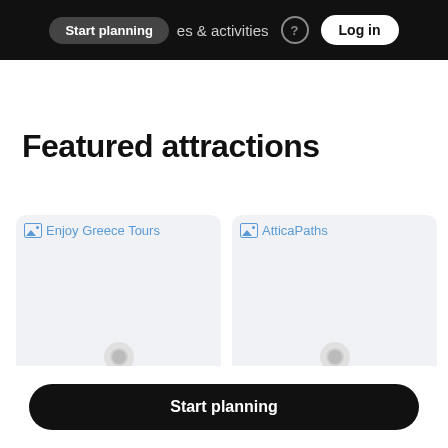Start planning  places & activities  Log in
Featured attractions
[Figure (screenshot): Card showing Enjoy Greece Tours logo placeholder image with map pin icon]
CULTURAL TOUR
Enjoy Greece Tours
[Figure (screenshot): Card showing AtticaPaths logo placeholder image with map pin icon]
BIKE TOUR
AtticaPaths
Start planning